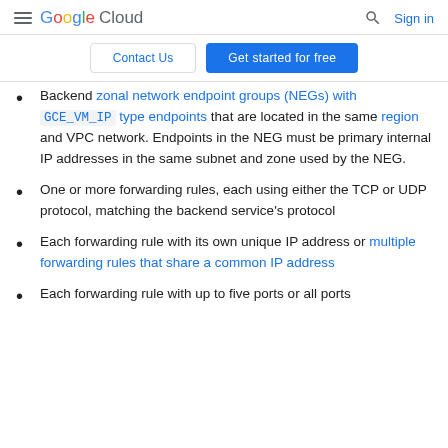Google Cloud — Sign in
Contact Us | Get started for free
Backend zonal network endpoint groups (NEGs) with GCE_VM_IP type endpoints that are located in the same region and VPC network. Endpoints in the NEG must be primary internal IP addresses in the same subnet and zone used by the NEG.
One or more forwarding rules, each using either the TCP or UDP protocol, matching the backend service's protocol
Each forwarding rule with its own unique IP address or multiple forwarding rules that share a common IP address
Each forwarding rule with up to five ports or all ports